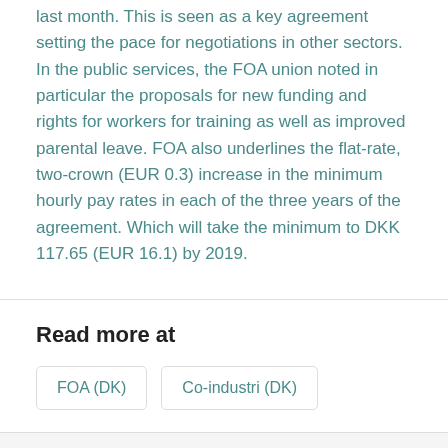last month. This is seen as a key agreement setting the pace for negotiations in other sectors. In the public services, the FOA union noted in particular the proposals for new funding and rights for workers for training as well as improved parental leave. FOA also underlines the flat-rate, two-crown (EUR 0.3) increase in the minimum hourly pay rates in each of the three years of the agreement. Which will take the minimum to DKK 117.65 (EUR 16.1) by 2019.
Read more at
FOA (DK)
Co-industri (DK)
Feb. 21, 2017